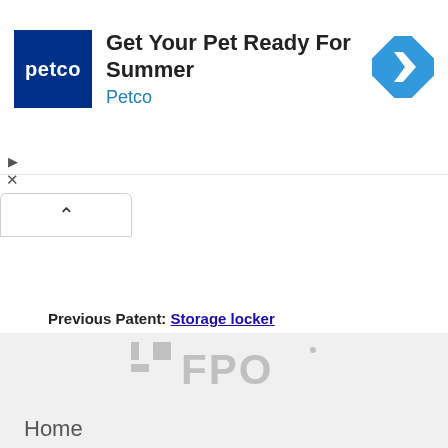[Figure (advertisement): Petco ad banner: Petco logo (dark blue square with 'petco' text), headline 'Get Your Pet Ready For Summer', subtext 'Petco', and a blue diamond-shaped navigation arrow icon on the right. Small play and close controls at bottom-left of banner.]
Previous Patent: Storage locker
Next Patent: WALL ANGLE WITH PRE-PUNCHED LOCATING TABS
[Figure (logo): FPO watermark logo in light gray on a light gray background, with 'Home' text below-left.]